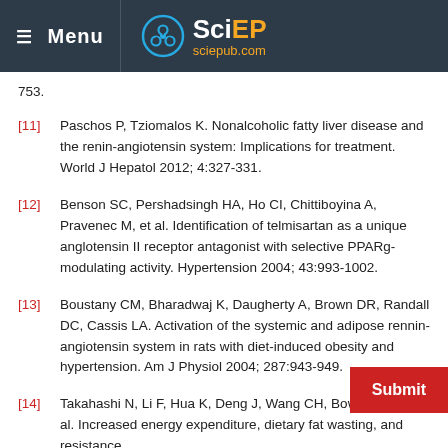Menu | SciEP sciepub.com
753.
[11] Paschos P, Tziomalos K. Nonalcoholic fatty liver disease and the renin-angiotensin system: Implications for treatment. World J Hepatol 2012; 4:327-331.
[12] Benson SC, Pershadsingh HA, Ho CI, Chittiboyina A, Pravenec M, et al. Identification of telmisartan as a unique anglotensin II receptor antagonist with selective PPARg-modulating activity. Hypertension 2004; 43:993-1002.
[13] Boustany CM, Bharadwaj K, Daugherty A, Brown DR, Randall DC, Cassis LA. Activation of the systemic and adipose rennin-angiotensin system in rats with diet-induced obesity and hypertension. Am J Physiol 2004; 287:943-949.
[14] Takahashi N, Li F, Hua K, Deng J, Wang CH, Bowers RR, et al. Increased energy expenditure, dietary fat wasting, and resistance